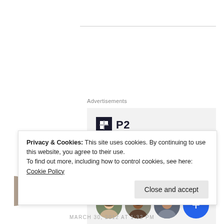Advertisements
[Figure (illustration): P2 advertisement banner with logo showing a dark square icon with grid lines and 'P2' text, headline 'Getting your team on the same page is easy. And free.' with three profile photo avatars and a blue plus-sign circle button.]
Privacy & Cookies: This site uses cookies. By continuing to use this website, you agree to their use.
To find out more, including how to control cookies, see here: Cookie Policy
Close and accept
MARCH 30, 2012 AT 1:32 PM